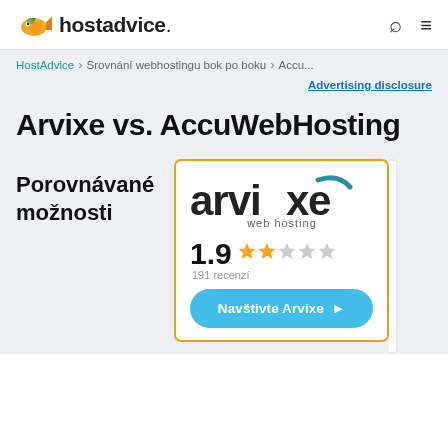hostadvice.
HostAdvice > Srovnání webhostingu bok po boku > Accu...
Advertising disclosure
Arvixe vs. AccuWebHosting
Porovnávané možnosti
[Figure (logo): Arvixe web hosting logo with teal checkmark X, rating 1.9 stars (2 gold stars, 3 grey stars), 191 recenzí, and a teal 'Navštivte Arvixe' button]